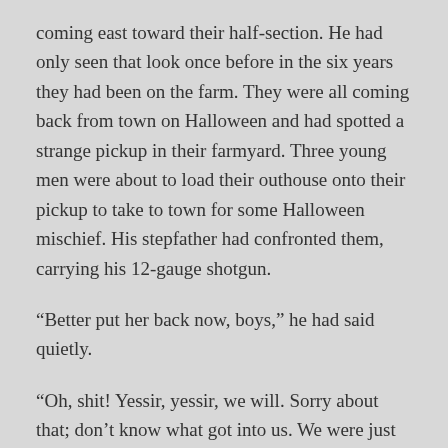coming east toward their half-section. He had only seen that look once before in the six years they had been on the farm. They were all coming back from town on Halloween and had spotted a strange pickup in their farmyard. Three young men were about to load their outhouse onto their pickup to take to town for some Halloween mischief. His stepfather had confronted them, carrying his 12-gauge shotgun.
“Better put her back now, boys,” he had said quietly.
“Oh, shit! Yessir, yessir, we will. Sorry about that; don’t know what got into us. We were just funning around. We’ll get ‘er back right away.”
The outhouse was put back and the three partygoers left. But with the hailstorm there wasn’t anyone to